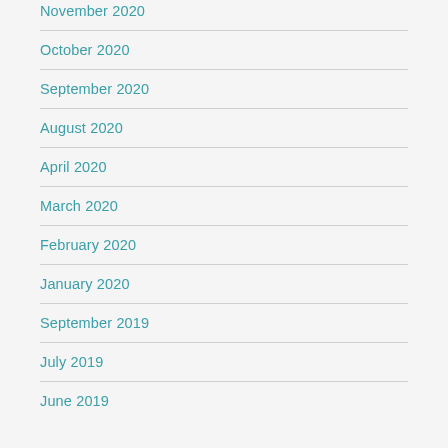November 2020
October 2020
September 2020
August 2020
April 2020
March 2020
February 2020
January 2020
September 2019
July 2019
June 2019